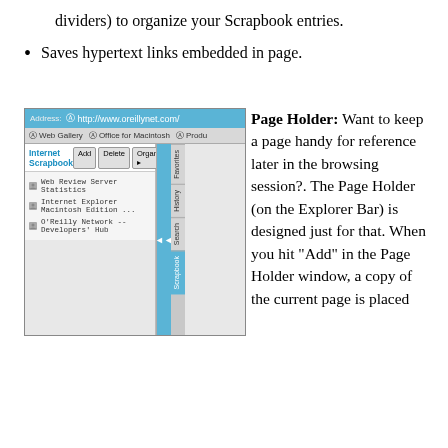dividers) to organize your Scrapbook entries.
Saves hypertext links embedded in page.
[Figure (screenshot): Internet Explorer for Macintosh browser screenshot showing the Internet Scrapbook panel with entries: Web Review Server Statistics, Internet Explorer Macintosh Edition ..., O'Reilly Network -- Developers' Hub, with Add, Delete, Organize buttons, and right-side tabs for Favorites, History, Search, Scrapbook]
Page Holder: Want to keep a page handy for reference later in the browsing session?. The Page Holder (on the Explorer Bar) is designed just for that. When you hit "Add" in the Page Holder window, a copy of the current page is placed